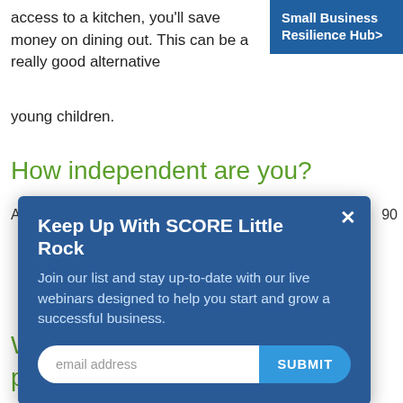access to a kitchen, you'll save money on dining out. This can be a really good alternative to young children.
[Figure (screenshot): Blue banner button labeled 'Small Business Resilience Hub>' in top-right corner]
How independent are you?
Partial background text with number 90 visible on right side
[Figure (screenshot): Modal popup with dark blue background: title 'Keep Up With SCORE Little Rock', body text 'Join our list and stay up-to-date with our live webinars designed to help you start and grow a successful business.', email address input field with SUBMIT button, and X close button]
What type of experience do you prefer?